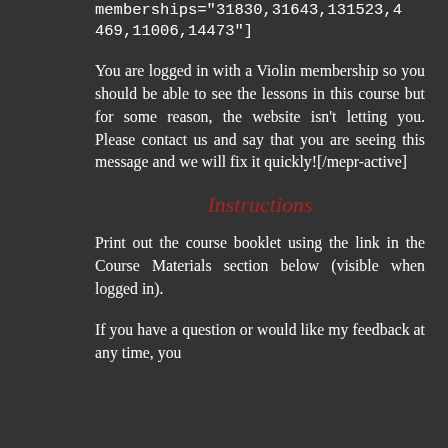memberships="31830,31643,131523,4469,11006,14473"]
You are logged in with a Violin membership so you should be able to see the lessons in this course but for some reason, the website isn't letting you. Please contact us and say that you are seeing this message and we will fix it quickly![/mepr-active]
Instructions
Print out the course booklet using the link in the Course Materials section below (visible when logged in).
If you have a question or would like my feedback at any time, you